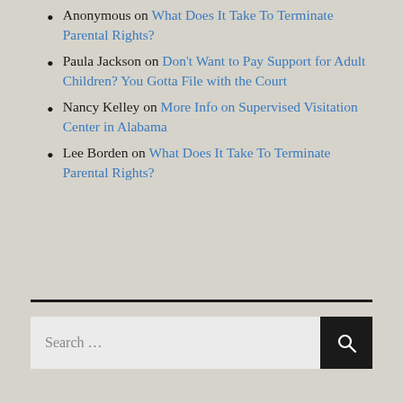Anonymous on What Does It Take To Terminate Parental Rights?
Paula Jackson on Don't Want to Pay Support for Adult Children? You Gotta File with the Court
Nancy Kelley on More Info on Supervised Visitation Center in Alabama
Lee Borden on What Does It Take To Terminate Parental Rights?